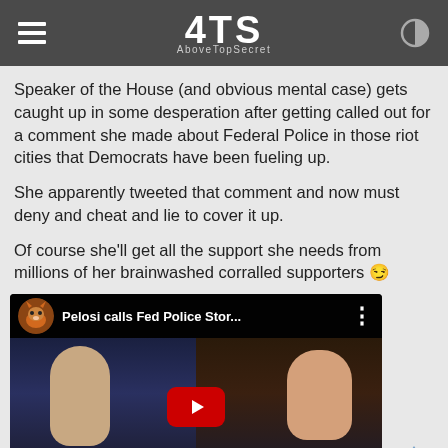ATS AboveTopSecret
Speaker of the House (and obvious mental case) gets caught up in some desperation after getting called out for a comment she made about Federal Police in those riot cities that Democrats have been fueling up.

She apparently tweeted that comment and now must deny and cheat and lie to cover it up.

Of course she'll get all the support she needs from millions of her brainwashed corralled supporters 😏
[Figure (screenshot): YouTube video thumbnail showing 'Pelosi calls Fed Police Stor...' with a fox avatar channel icon, a male news anchor and a woman (Pelosi) visible, and a red YouTube play button overlay]